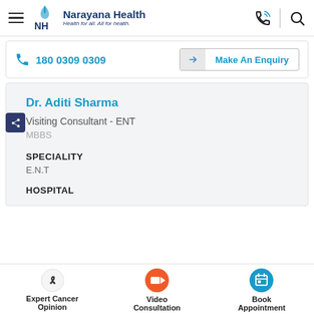NH Narayana Health — Health for all. All for health.
180 0309 0309
Make An Enquiry
Dr. Aditi Sharma
Visiting Consultant - ENT
MBBS
SPECIALITY
E.N.T
HOSPITAL
Expert Cancer Opinion
Video Consultation
Book Appointment